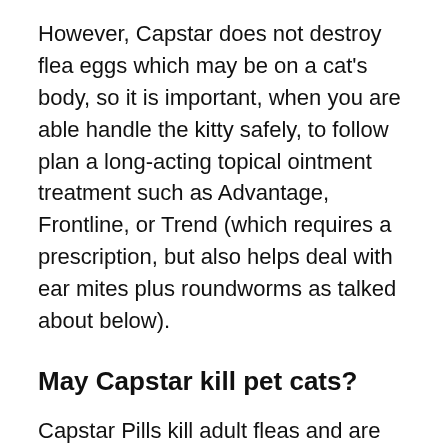However, Capstar does not destroy flea eggs which may be on a cat's body, so it is important, when you are able handle the kitty safely, to follow plan a long-acting topical ointment treatment such as Advantage, Frontline, or Trend (which requires a prescription, but also helps deal with ear mites plus roundworms as talked about below).
May Capstar kill pet cats?
Capstar Pills kill adult fleas and are indicated for that treatment of flea contaminations on dogs, puppies, cats and cats 4 weeks of age plus older and two pounds of bodyweight or greater. Just